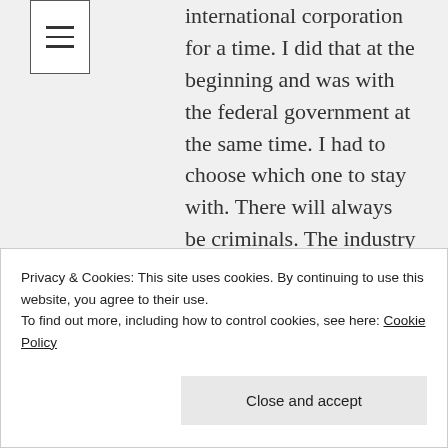[Figure (other): Hamburger menu icon with three horizontal lines inside a bordered square]
international corporation for a time. I did that at the beginning and was with the federal government at the same time. I had to choose which one to stay with. There will always be criminals. The industry I was in would always be around too but I was torn because they offered me a job to work for the CEO taking care of just his emails. 6 figures. I almost stayed but took the other job because it paid just as good and I widened out my social circle.
Privacy & Cookies: This site uses cookies. By continuing to use this website, you agree to their use.
To find out more, including how to control cookies, see here: Cookie Policy
Close and accept